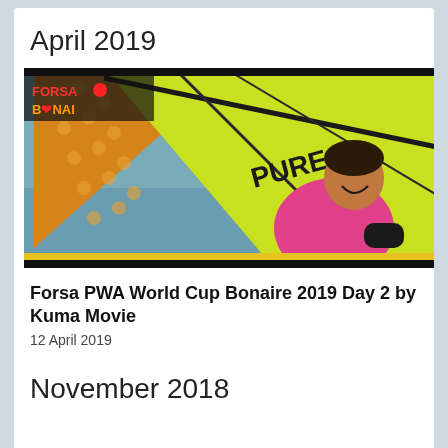April 2019
[Figure (photo): Windsurfer at Forsa PWA World Cup Bonaire 2019, man in pink shirt smiling with yellow and orange sails, Forsa Bonaire logo visible top left]
Forsa PWA World Cup Bonaire 2019 Day 2 by Kuma Movie
12 April 2019
November 2018